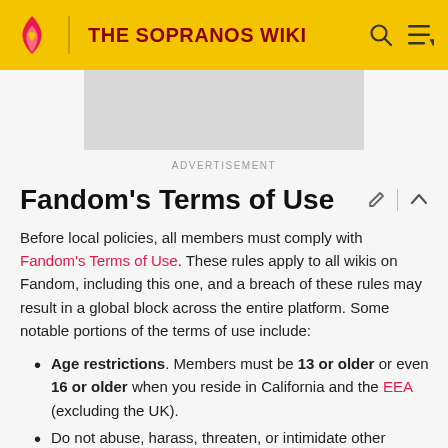THE SOPRANOS WIKI
[Figure (other): Advertisement placeholder banner (gray rectangle)]
ADVERTISEMENT
Fandom's Terms of Use
Before local policies, all members must comply with Fandom's Terms of Use. These rules apply to all wikis on Fandom, including this one, and a breach of these rules may result in a global block across the entire platform. Some notable portions of the terms of use include:
Age restrictions. Members must be 13 or older or even 16 or older when you reside in California and the EEA (excluding the UK).
Do not abuse, harass, threaten, or intimidate other